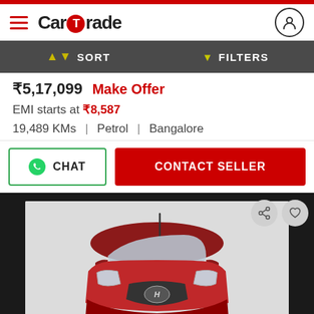CarTrade
SORT   FILTERS
₹5,17,099  Make Offer
EMI starts at ₹8,587
19,489 KMs  |  Petrol  |  Bangalore
CHAT   CONTACT SELLER
[Figure (photo): Front view of a red Hyundai small car (Grand i10 or similar) photographed against a light grey/white background, showing the windshield, hood, headlights, side mirrors, and Hyundai logo on the grille.]